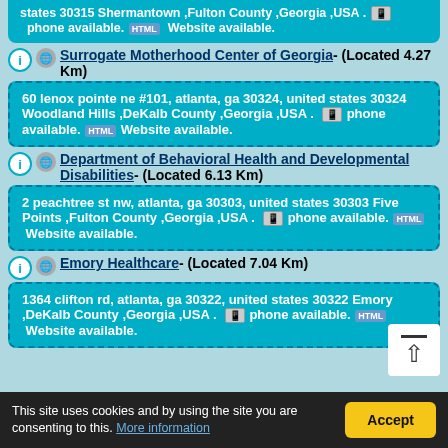states 30315 Shermantown ,Fulton County ,Georgia ,USA . phone available. HTML Website available.
Surrogate Motherhood Center of Georgia - (Located 4.27 Km)
60 lenox pointe ne #101, atlanta, ga 30324, united states 30324 Woodland Hills ,DeKalb County ,Georgia ,USA . phone available. HTML Website available.
Department of Behavioral Health and Developmental Disabilities - (Located 6.13 Km)
2 peachtree st nw, atlanta, ga 30303, united states 30303 Five Points ,Fulton County ,Georgia ,USA . phone available. HTML Website available.
Emory Healthcare - (Located 7.04 Km)
1364 clifton rd, atlanta, ga 30322, united states 30322 Emory ,DeKalb County ,Georgia ,USA . phone available. HTML Website available.
This site uses cookies and by using the site you are consenting to this. More information Accept